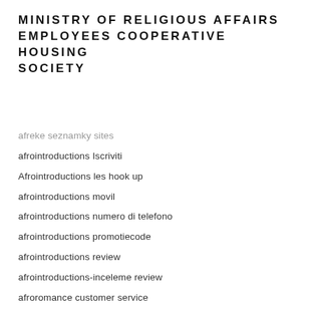MINISTRY OF RELIGIOUS AFFAIRS EMPLOYEES COOPERATIVE HOUSING SOCIETY
afreke seznamky sites
afrointroductions Iscriviti
Afrointroductions les hook up
afrointroductions movil
afrointroductions numero di telefono
afrointroductions promotiecode
afrointroductions review
afrointroductions-inceleme review
afroromance customer service
afroromance discuter